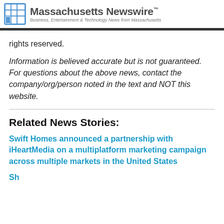Massachusetts Newswire™ — Business, Entertainment & Technology News from Massachusetts
rights reserved.
Information is believed accurate but is not guaranteed. For questions about the above news, contact the company/org/person noted in the text and NOT this website.
Related News Stories:
Swift Homes announced a partnership with iHeartMedia on a multiplatform marketing campaign across multiple markets in the United States
Sh... and Real Estate Tech Th...